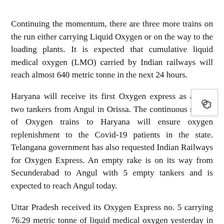Continuing the momentum, there are three more trains on the run either carrying Liquid Oxygen or on the way to the loading plants. It is expected that cumulative liquid medical oxygen (LMO) carried by Indian railways will reach almost 640 metric tonne in the next 24 hours.
Haryana will receive its first Oxygen express as a with two tankers from Angul in Orissa. The continuous stream of Oxygen trains to Haryana will ensure oxygen replenishment to the Covid-19 patients in the state. Telangana government has also requested Indian Railways for Oxygen Express. An empty rake is on its way from Secunderabad to Angul with 5 empty tankers and is expected to reach Angul today.
Uttar Pradesh received its Oxygen Express no. 5 carrying 76.29 metric tonne of liquid medical oxygen yesterday in 5 tankers. One Tanker was offloaded in Varanasi while the remaining 4 tankers were offloaded in